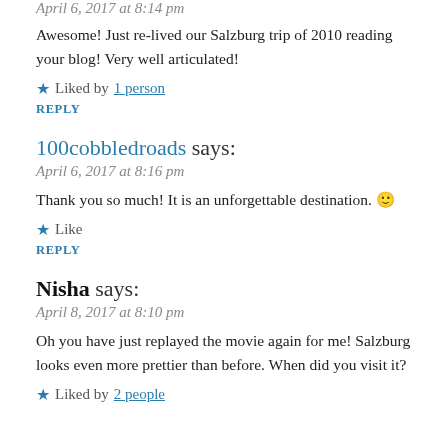April 6, 2017 at 8:14 pm
Awesome! Just re-lived our Salzburg trip of 2010 reading your blog! Very well articulated!
Liked by 1 person
REPLY
100cobbledroads says:
April 6, 2017 at 8:16 pm
Thank you so much! It is an unforgettable destination. 🙂
Like
REPLY
Nisha says:
April 8, 2017 at 8:10 pm
Oh you have just replayed the movie again for me! Salzburg looks even more prettier than before. When did you visit it?
Liked by 2 people